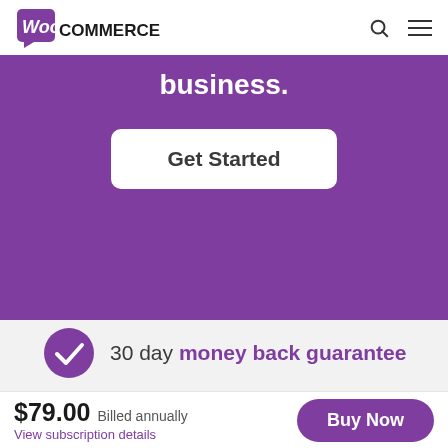[Figure (logo): WooCommerce logo with purple speech bubble icon and black COMMERCE text]
business.
Get Started
30 day money back guarantee
$79.00  Billed annually
View subscription details
Buy Now